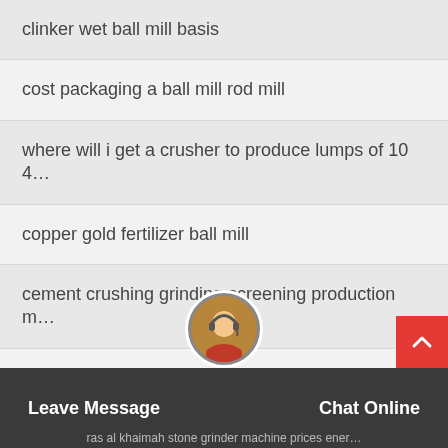clinker wet ball mill basis
cost packaging a ball mill rod mill
where will i get a crusher to produce lumps of 10 4…
copper gold fertilizer ball mill
cement crushing grinding screening production m…
lecture on ball mill
high technology solid wa… productair conditione…
Leave Message   Chat Online
ras al khaimah stone grinder machine prices ener…